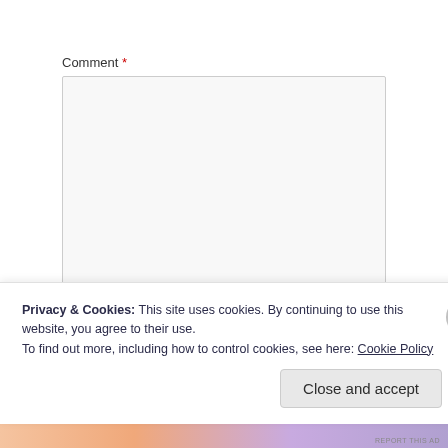Comment *
[Figure (screenshot): Empty textarea input field with resize handle at bottom right]
Name *
[Figure (screenshot): Empty single-line text input field]
Privacy & Cookies: This site uses cookies. By continuing to use this website, you agree to their use.
To find out more, including how to control cookies, see here: Cookie Policy
Close and accept